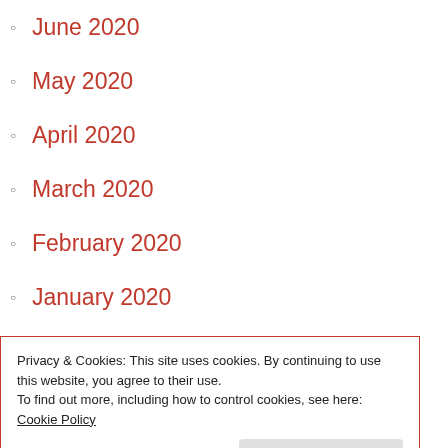June 2020
May 2020
April 2020
March 2020
February 2020
January 2020
December 2019
November 2019
October 2019
September 2019
August 2019
July 2019
Privacy & Cookies: This site uses cookies. By continuing to use this website, you agree to their use. To find out more, including how to control cookies, see here: Cookie Policy
December 2018